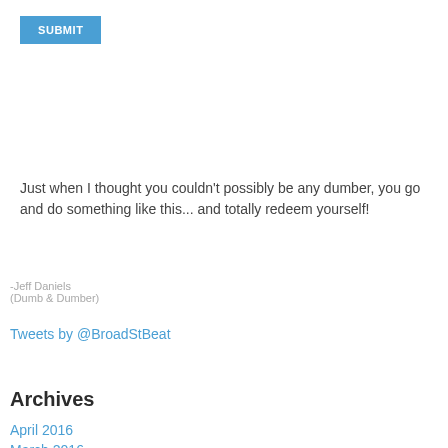[Figure (other): Blue SUBMIT button]
Just when I thought you couldn't possibly be any dumber, you go and do something like this... and totally redeem yourself!
-Jeff Daniels
(Dumb & Dumber)
Tweets by @BroadStBeat
Archives
April 2016
March 2016